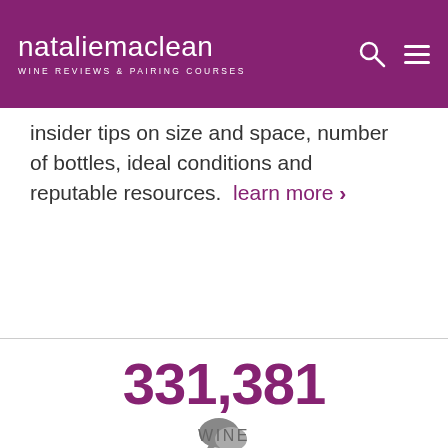natalie maclean — WINE REVIEWS & PAIRING COURSES
insider tips on size and space, number of bottles, ideal conditions and reputable resources.   learn more ›
331,381
WINE REVIEWS